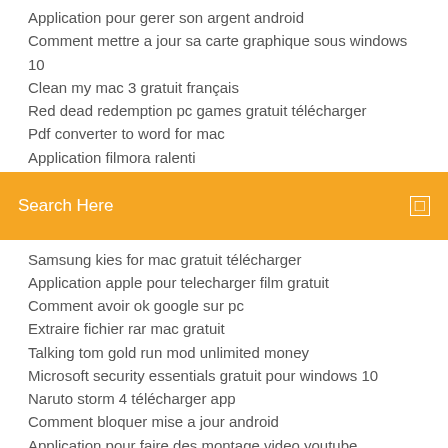Application pour gerer son argent android
Comment mettre a jour sa carte graphique sous windows 10
Clean my mac 3 gratuit français
Red dead redemption pc games gratuit télécharger
Pdf converter to word for mac
Application filmora ralenti
Search Here
Samsung kies for mac gratuit télécharger
Application apple pour telecharger film gratuit
Comment avoir ok google sur pc
Extraire fichier rar mac gratuit
Talking tom gold run mod unlimited money
Microsoft security essentials gratuit pour windows 10
Naruto storm 4 télécharger app
Comment bloquer mise a jour android
Application pour faire des montage video youtube
Windows 7 edition familiale premium gratuit